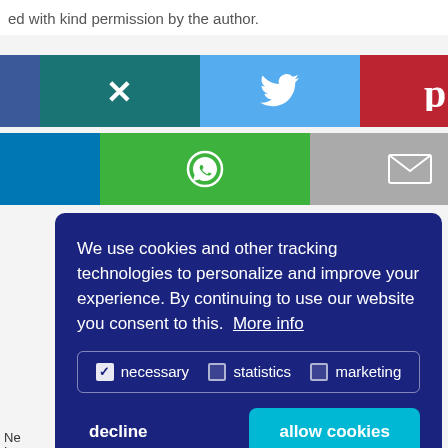ed with kind permission by the author.
[Figure (screenshot): Social media share buttons row 1: Facebook (blue), Xing (teal with X logo), Twitter (light blue with bird logo), Pinterest (red with P logo)]
[Figure (screenshot): Social media share buttons row 2: LinkedIn (blue), WhatsApp (green with phone icon), Email (gray with envelope icon), Info button (white with i)]
We use cookies and other tracking technologies to personalize and improve your experience. By continuing to use our website you consent to this. More info
necessary   statistics   marketing
decline   allow cookies
Ne
Leg